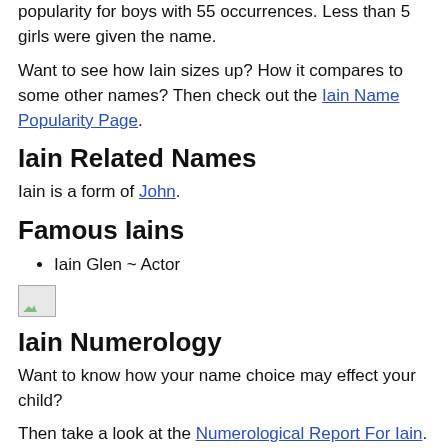popularity for boys with 55 occurrences. Less than 5 girls were given the name.
Want to see how Iain sizes up? How it compares to some other names? Then check out the Iain Name Popularity Page.
Iain Related Names
Iain is a form of John.
Famous Iains
Iain Glen ~ Actor
[Figure (photo): Broken image placeholder]
Iain Numerology
Want to know how your name choice may effect your child?
Then take a look at the Numerological Report For Iain.
It may give you some insight about your new baby.